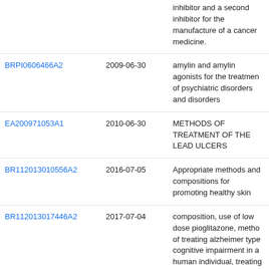| Patent ID | Date | Description |
| --- | --- | --- |
|  |  | inhibitor and a second inhibitor for the manufacture of a cancer medicine. |
| BRPI0606466A2 | 2009-06-30 | amylin and amylin agonists for the treatment of psychiatric disorders and disorders |
| EA200971053A1 | 2010-06-30 | METHODS OF TREATMENT OF THE LEAD ULCERS |
| BR112013010556A2 | 2016-07-05 | Appropriate methods and compositions for promoting healthy skin |
| BR112013017446A2 | 2017-07-04 | composition, use of low dose pioglitazone, methods of treating alzheimer type cognitive impairment in a human individual, treating cognitive decline in a human individual, determining the increased risk of developing alzheimer cognitive impairment in a human... |